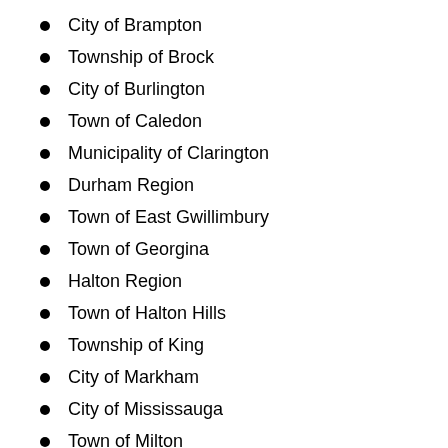City of Brampton
Township of Brock
City of Burlington
Town of Caledon
Municipality of Clarington
Durham Region
Town of East Gwillimbury
Town of Georgina
Halton Region
Town of Halton Hills
Township of King
City of Markham
City of Mississauga
Town of Milton
Town of Newmarket (partial, cut off)